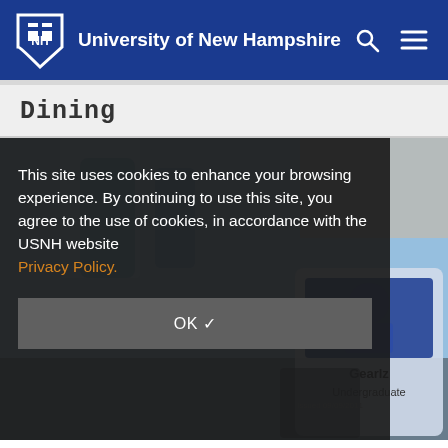University of New Hampshire
Dining
[Figure (screenshot): Background photo of a dining hall with blurred blue and beige tones, with a student ID card visible on the right showing 'Gearlz Undergraduate']
This site uses cookies to enhance your browsing experience. By continuing to use this site, you agree to the use of cookies, in accordance with the USNH website Privacy Policy.
OK ✓